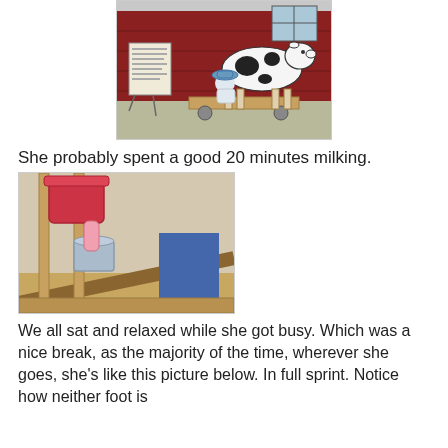[Figure (photo): Child in blue hat and dress milking a wooden/model black-and-white cow outside a red barn. A sign on an easel is visible to the left.]
She probably spent a good 20 minutes milking.
[Figure (photo): Close-up view underneath a cow milking demonstration setup, showing a pink bucket, metal pail, wooden legs, and a person in jeans sitting nearby.]
We all sat and relaxed while she got busy. Which was a nice break, as the majority of the time, wherever she goes, she's like this picture below. In full sprint. Notice how neither foot is